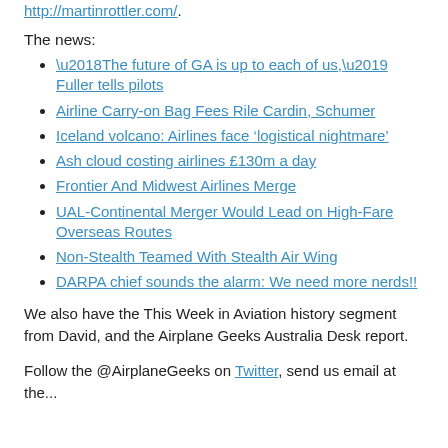http://martinrottler.com/.
The news:
‘The future of GA is up to each of us,’ Fuller tells pilots
Airline Carry-on Bag Fees Rile Cardin, Schumer
Iceland volcano: Airlines face ‘logistical nightmare’
Ash cloud costing airlines £130m a day
Frontier And Midwest Airlines Merge
UAL-Continental Merger Would Lead on High-Fare Overseas Routes
Non-Stealth Teamed With Stealth Air Wing
DARPA chief sounds the alarm: We need more nerds!!
We also have the This Week in Aviation history segment from David, and the Airplane Geeks Australia Desk report.
Follow the @AirplaneGeeks on Twitter, send us email at the...